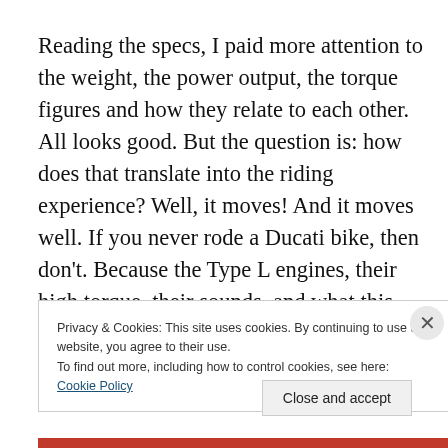Reading the specs, I paid more attention to the weight, the power output, the torque figures and how they relate to each other.  All looks good. But the question is: how does that translate into the riding experience? Well, it moves! And it moves well. If you never rode a Ducati bike, then don't. Because the Type L engines, their high torque, their sounds, and what this combo represents when in motion is addictive. Add great handling and the result is total
Privacy & Cookies: This site uses cookies. By continuing to use this website, you agree to their use.
To find out more, including how to control cookies, see here: Cookie Policy
Close and accept